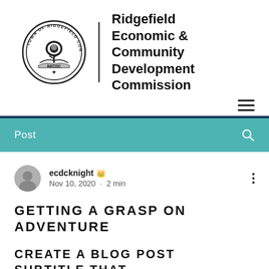[Figure (logo): Town of Ridgefield Connecticut circular seal with tree and RECDC text, alongside vertical divider and organization name 'Ridgefield Economic & Community Development Commission']
Post
ecdcknight 👑
Nov 10, 2020 · 2 min
GETTING A GRASP ON ADVENTURE
CREATE A BLOG POST SUBTITLE THAT